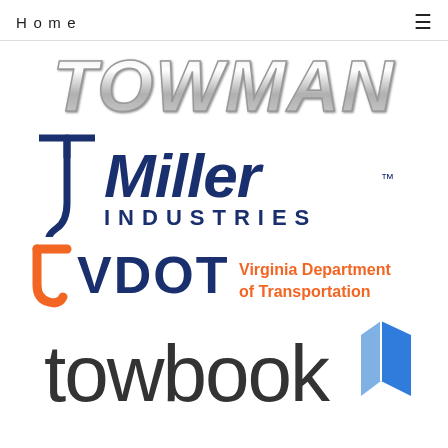Home ☰
[Figure (logo): TOWMAN logo in silver metallic bold italic text]
[Figure (logo): Miller Industries logo in dark navy blue with tow hook graphic]
[Figure (logo): VDOT Virginia Department of Transportation logo with orange hook symbol]
[Figure (logo): towbook logo in dark gray lowercase text with blue book icon]